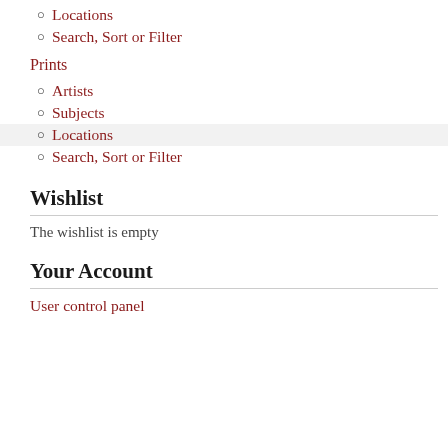Locations
Search, Sort or Filter
Prints
Artists
Subjects
Locations
Search, Sort or Filter
Wishlist
The wishlist is empty
Your Account
User control panel